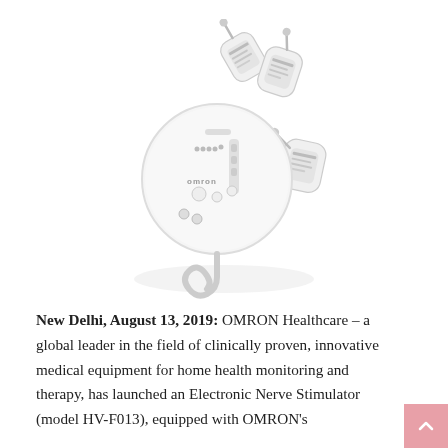[Figure (photo): OMRON Electronic Nerve Stimulator device (white circular/disc-shaped unit) with attached electrode pads shown against white background]
New Delhi, August 13, 2019: OMRON Healthcare – a global leader in the field of clinically proven, innovative medical equipment for home health monitoring and therapy, has launched an Electronic Nerve Stimulator (model HV-F013), equipped with OMRON's